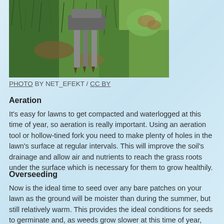[Figure (photo): Photo of a lawn aeration tool or hollow-tined fork being used on grass, close-up view showing the tines in the lawn.]
PHOTO BY NET_EFEKT / CC BY
Aeration
It's easy for lawns to get compacted and waterlogged at this time of year, so aeration is really important. Using an aeration tool or hollow-tined fork you need to make plenty of holes in the lawn's surface at regular intervals. This will improve the soil's drainage and allow air and nutrients to reach the grass roots under the surface which is necessary for them to grow healthily.
Overseeding
Now is the ideal time to seed over any bare patches on your lawn as the ground will be moister than during the summer, but still relatively warm. This provides the ideal conditions for seeds to germinate and, as weeds grow slower at this time of year, there will be less competition for space and nutrients making it easier for your new grass to establish itself.